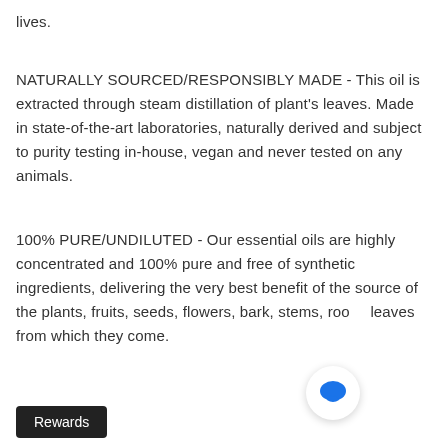lives.
NATURALLY SOURCED/RESPONSIBLY MADE - This oil is extracted through steam distillation of plant's leaves. Made in state-of-the-art laboratories, naturally derived and subject to purity testing in-house, vegan and never tested on any animals.
100% PURE/UNDILUTED - Our essential oils are highly concentrated and 100% pure and free of synthetic ingredients, delivering the very best benefit of the source of the plants, fruits, seeds, flowers, bark, stems, roots, leaves from which they come.